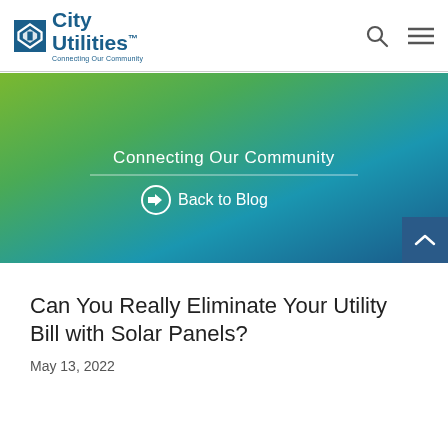City Utilities – Connecting Our Community
[Figure (illustration): City Utilities logo with diamond icon, text 'City Utilities' and tagline 'Connecting Our Community', plus search and menu icons on the right]
[Figure (illustration): Green-to-blue gradient banner with text 'Connecting Our Community', a horizontal rule, and a back arrow link reading 'Back to Blog']
Can You Really Eliminate Your Utility Bill with Solar Panels?
May 13, 2022